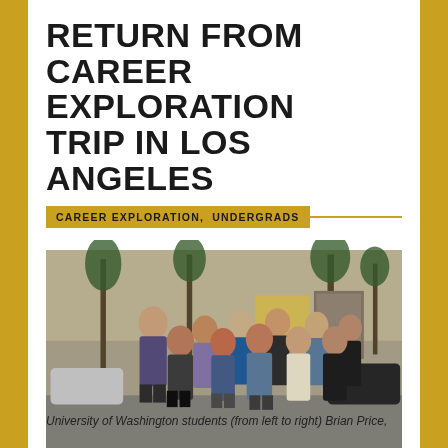RETURN FROM CAREER EXPLORATION TRIP IN LOS ANGELES
CAREER EXPLORATION,  UNDERGRADS
[Figure (photo): Group photo of University of Washington students standing outdoors in a parking lot area with palm trees, a McDonald's sign, and cars in the background. Approximately 9-10 students posed together.]
University of Washington students (from left to right) Brian Price,